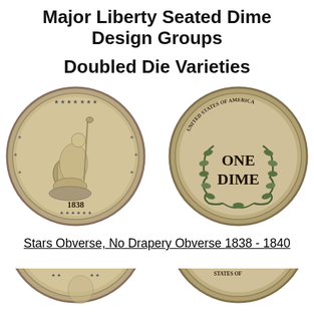Major Liberty Seated Dime Design Groups
Doubled Die Varieties
[Figure (photo): Two Liberty Seated Dimes from 1838: obverse showing Liberty seated with stars, dated 1838, and reverse showing ONE DIME within wreath with UNITED STATES OF AMERICA around the rim.]
Stars Obverse, No Drapery Obverse 1838 - 1840
[Figure (photo): Partial view of two more Liberty Seated Dimes, obverse and reverse, cropped at the bottom of the page.]